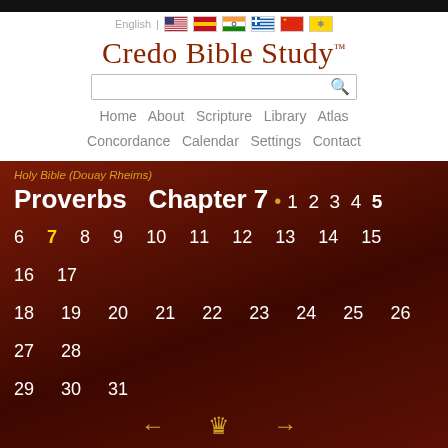English | [flags]
Credo Bible Study™
[Figure (screenshot): Search bar with magnifying glass icon]
Home  About  Scripture  Library  Atlas  Concordance  Calendar  Settings  Contact
Holy Bible (Douay Rheims)
Proverbs  Chapter 7  • 1 2 3 4 5 6 7 8 9 10 11 12 13 14 15 16 17 18 19 20 21 22 23 24 25 26 27 28 29 30 31
Mt  MY son, keep my words, and lay up my